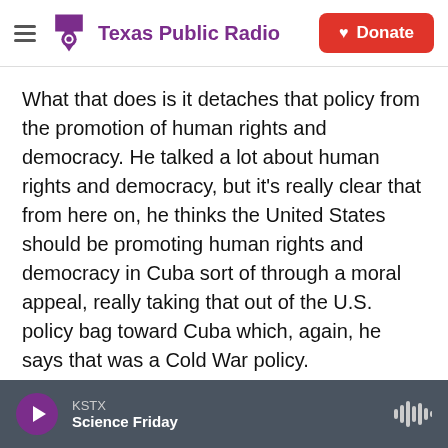Texas Public Radio | Donate
What that does is it detaches that policy from the promotion of human rights and democracy. He talked a lot about human rights and democracy, but it's really clear that from here on, he thinks the United States should be promoting human rights and democracy in Cuba sort of through a moral appeal, really taking that out of the U.S. policy bag toward Cuba which, again, he says that was a Cold War policy.
Well, in 1996, actually, U.S. Congress made the promotion of human rights and democracy part of the justification for travel and trade restrictions
KSTX — Science Friday